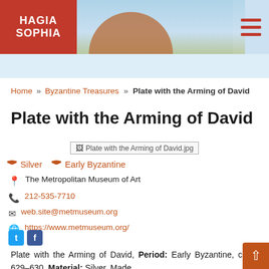[Figure (screenshot): Hagia Sophia website header banner with red box logo showing HAGIA SOPHIA text, photo of building and sky, and hamburger menu icon]
Home » Byzantine Treasures » Plate with the Arming of David
Plate with the Arming of David
[Figure (photo): Broken image placeholder: Plate with the Arming of David.jpg]
Silver   Early Byzantine
The Metropolitan Museum of Art
212-535-7710
web.site@metmuseum.org
https://www.metmuseum.org/
[Figure (logo): Twitter and Facebook social media icons]
Plate with the Arming of David, Period: Early Byzantine, circa: 629–630, Material: Silver, Made